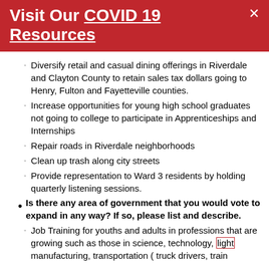Visit Our COVID 19 Resources
Diversify retail and casual dining offerings in Riverdale and Clayton County to retain sales tax dollars going to Henry, Fulton and Fayetteville counties.
Increase opportunities for young high school graduates not going to college to participate in Apprenticeships and Internships
Repair roads in Riverdale neighborhoods
Clean up trash along city streets
Provide representation to Ward 3 residents by holding quarterly listening sessions.
Is there any area of government that you would vote to expand in any way? If so, please list and describe.
Job Training for youths and adults in professions that are growing such as those in science, technology, light manufacturing, transportation ( truck drivers, train